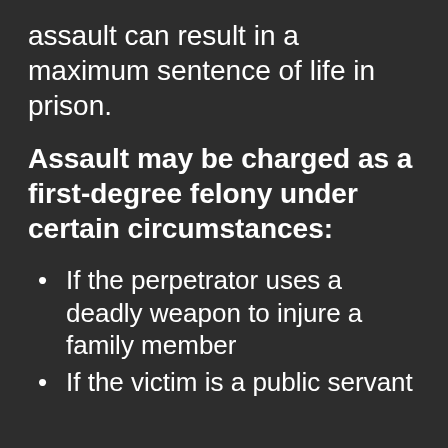assault can result in a maximum sentence of life in prison.
Assault may be charged as a first-degree felony under certain circumstances:
If the perpetrator uses a deadly weapon to injure a family member
If the victim is a public servant